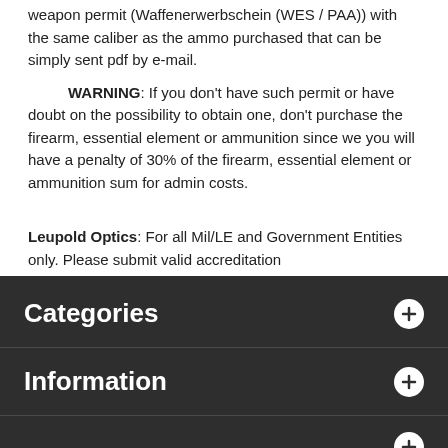weapon permit (Waffenerwerbschein (WES / PAA)) with the same caliber as the ammo purchased that can be simply sent pdf by e-mail.
WARNING: If you don't have such permit or have doubt on the possibility to obtain one, don't purchase the firearm, essential element or ammunition since we you will have a penalty of 30% of the firearm, essential element or ammunition sum for admin costs.
Leupold Optics: For all Mil/LE and Government Entities only. Please submit valid accreditation
Export notice: Certain items are controlled for export by the International Traffic in Arms Regulations (ITAR). These controls take the form of export regulations and license requirements.
Categories
Information